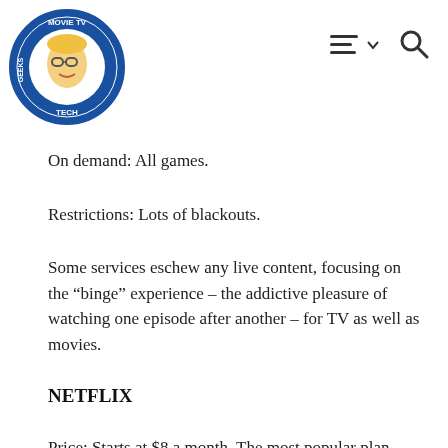Movie TV Tech Geeks logo and navigation
On demand: All games.
Restrictions: Lots of blackouts.
Some services eschew any live content, focusing on the “binge” experience – the addictive pleasure of watching one episode after another – for TV as well as movies.
NETFLIX
Price: Starts at $8 a month. The most popular plan costs $10.
Live offering: None